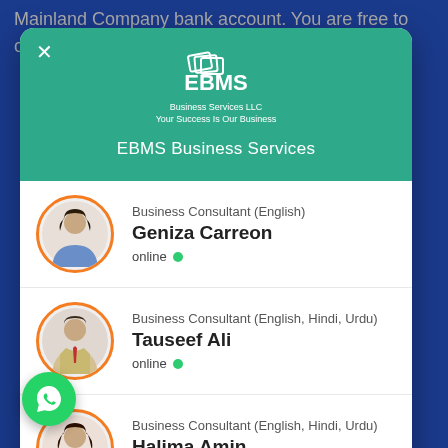Mainland Company bank account. You are free to open tion of
[Figure (screenshot): EBMS Business Services chat widget popup showing three consultants: Geniza Carreon (English, online), Tauseef Ali (English, Hindi, Urdu, online), Halima Amin (English, Hindi, Urdu, online)]
Based on 343 reviews.